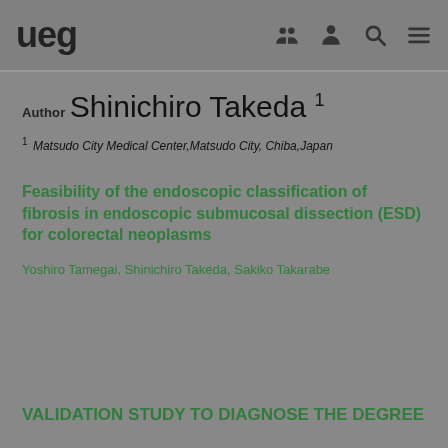ueg
Author
Shinichiro Takeda 1
1 Matsudo City Medical Center, Matsudo City, Chiba, Japan
Feasibility of the endoscopic classification of fibrosis in endoscopic submucosal dissection (ESD) for colorectal neoplasms
Yoshiro Tamegai, Shinichiro Takeda, Sakiko Takarabe
VALIDATION STUDY TO DIAGNOSE THE DEGREE